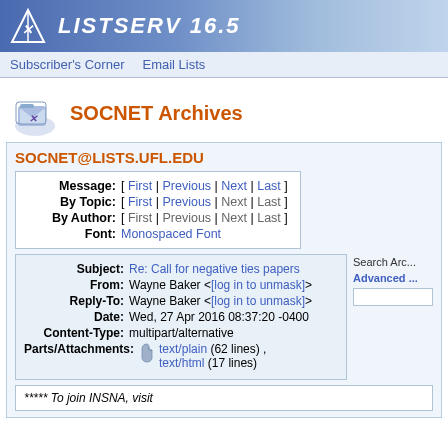LISTSERV 16.5
Subscriber's Corner  Email Lists
SOCNET Archives
SOCNET@LISTS.UFL.EDU
| Label | Navigation |
| --- | --- |
| Message: | [ First | Previous | Next | Last ] |
| By Topic: | [ First | Previous | Next | Last ] |
| By Author: | [ First | Previous | Next | Last ] |
| Font: | Monospaced Font |
| Field | Value |
| --- | --- |
| Subject: | Re: Call for negative ties papers |
| From: | Wayne Baker <[log in to unmask]> |
| Reply-To: | Wayne Baker <[log in to unmask]> |
| Date: | Wed, 27 Apr 2016 08:37:20 -0400 |
| Content-Type: | multipart/alternative |
| Parts/Attachments: | text/plain (62 lines) , text/html (17 lines) |
***** To join INSNA, visit